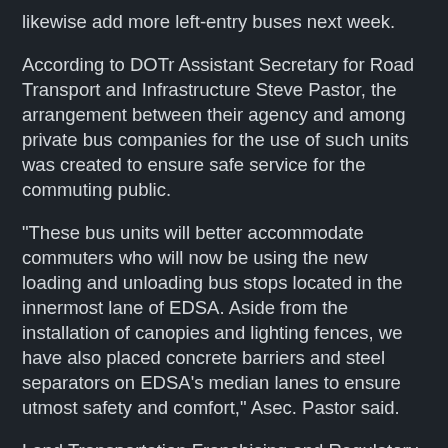likewise add more left-entry buses next week.
According to DOTr Assistant Secretary for Road Transport and Infrastructure Steve Pastor, the arrangement between their agency and among private bus companies for the use of such units was created to ensure safe service for the commuting public.
“These bus units will better accommodate commuters who will now be using the new loading and unloading bus stops located in the innermost lane of EDSA. Aside from the installation of canopies and lighting fences, we have also placed concrete barriers and steel separators on EDSA’s median lanes to ensure utmost safety and comfort,” Asec. Pastor said.
Land Transportation Franchising and Regulatory Board (LTFRB) Chairman Martin Delgra III meanwhile reported that a total of 3,662 units and opened 31 traditional City Bus routes in Metro Manila.
According to him, alongside the operation of PUBs, the